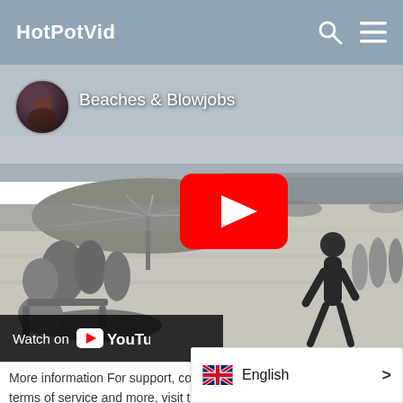HotPotVid
[Figure (screenshot): Embedded YouTube video preview showing a black and white beach scene with people. Channel name 'Beaches & Blowjobs' shown with circular avatar. Large red YouTube play button in center. 'Watch on YouTube' bar at bottom left.]
More information For support, content r... s, terms of service and more, visit this pag...
English >